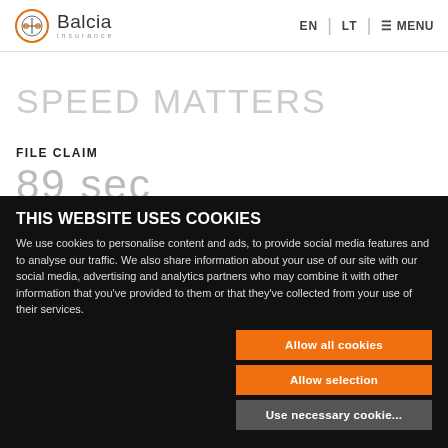Balcia Insurance | EN | LT | MENU
SPEED MATTERS
FILE CLAIM
89 sec
THIS WEBSITE USES COOKIES
We use cookies to personalise content and ads, to provide social media features and to analyse our traffic. We also share information about your use of our site with our social media, advertising and analytics partners who may combine it with other information that you've provided to them or that they've collected from your use of their services.
Allow all cookies
Allow selection
Use necessary cookies only